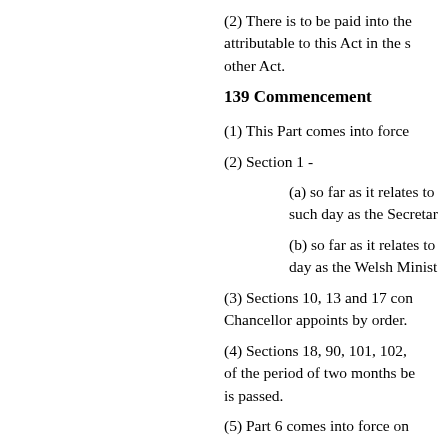(2) There is to be paid into the attributable to this Act in the s other Act.
139 Commencement
(1) This Part comes into force
(2) Section 1 -
(a) so far as it relates to such day as the Secretar
(b) so far as it relates to day as the Welsh Minist
(3) Sections 10, 13 and 17 con Chancellor appoints by order.
(4) Sections 18, 90, 101, 102, of the period of two months be is passed.
(5) Part 6 comes into force on
(6) The remaining provisions